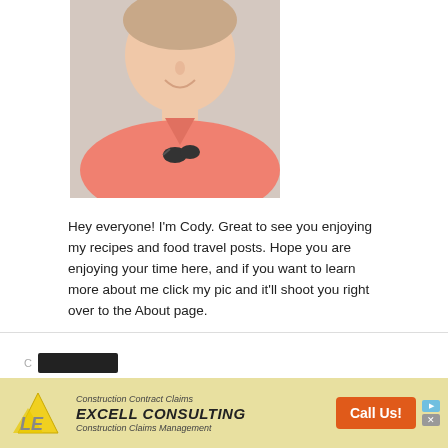[Figure (photo): Photo of a smiling man in a pink polo shirt with sunglasses hanging from collar, standing in front of a decorative background]
Hey everyone! I'm Cody. Great to see you enjoying my recipes and food travel posts. Hope you are enjoying your time here, and if you want to learn more about me click my pic and it'll shoot you right over to the About page.
We use cookies on our website to give you the most relevant experience by remembering your preferences and repeat visits. By clicking “Accept”, you consent to the use of ALL the cookies.
Do not sell my personal information.
[Figure (other): Advertisement banner for Excell Consulting - Construction Contract Claims and Construction Claims Management with a Call Us button]